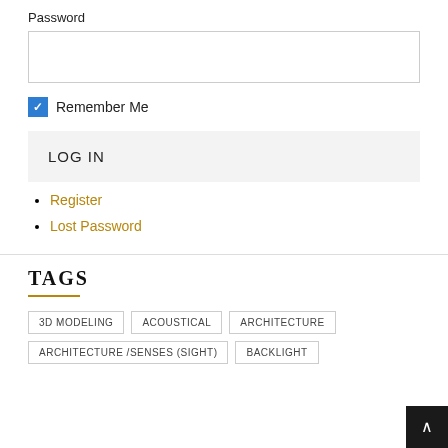Password
[Figure (screenshot): Password input field, empty text box with border]
Remember Me (checkbox checked)
LOG IN
Register
Lost Password
TAGS
3D MODELING    ACOUSTICAL    ARCHITECTURE
ARCHITECTURE /SENSES (SIGHT)    BACKLIGHT